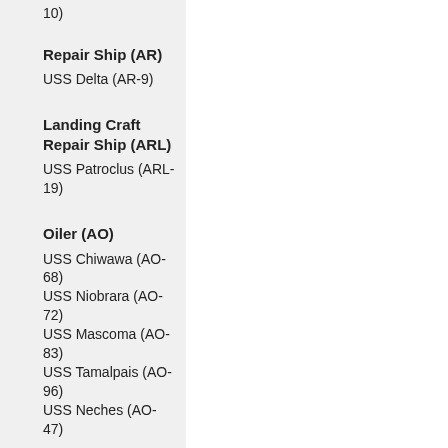10)
Repair Ship (AR)
USS Delta (AR-9)
Landing Craft Repair Ship (ARL)
USS Patroclus (ARL-19)
Oiler (AO)
USS Chiwawa (AO-68)
USS Niobrara (AO-72)
USS Mascoma (AO-83)
USS Tamalpais (AO-96)
USS Neches (AO-47)
Civilian Oilers
Carelia (British)
Fort Wrangell (British)